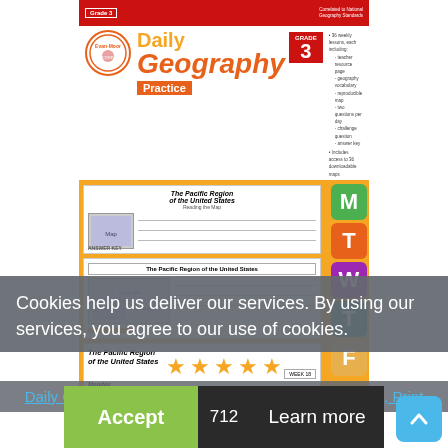[Figure (photo): Book cover of Daily Geography Practice Grade 3 by Evan-Moor, showing worksheets with The Pacific Region of the United States, with day-of-week letter tabs M T W T F on the right side]
Cookies help us deliver our services. By using our services, you agree to our use of cookies.
Daily Geography Practice, Grade 3 - Teacher's Edition, Print
Accept
712
Learn more